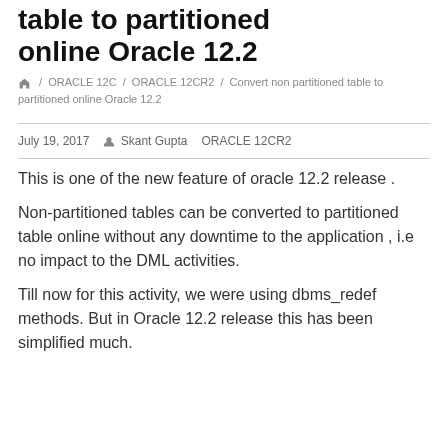table to partitioned online Oracle 12.2
/ ORACLE 12C / ORACLE 12CR2 / Convert non partitioned table to partitioned online Oracle 12.2
July 19, 2017  Skant Gupta  ORACLE 12CR2
This is one of the new feature of oracle 12.2 release .
Non-partitioned tables can be converted to partitioned table online without any downtime to the application , i.e no impact to the DML activities.
Till now for this activity, we were using dbms_redef methods. But in Oracle 12.2 release this has been simplified much.